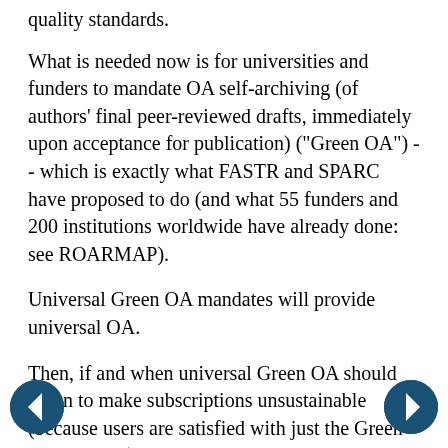quality standards.
What is needed now is for universities and funders to mandate OA self-archiving (of authors' final peer-reviewed drafts, immediately upon acceptance for publication) ("Green OA") -- which is exactly what FASTR and SPARC have proposed to do (and what 55 funders and 200 institutions worldwide have already done: see ROARMAP).
Universal Green OA mandates will provide universal OA.
Then, if and when universal Green OA should go on to make subscriptions unsustainable (because users are satisfied with just the Green OA versions), that will in turn induce journals to cut costs (no more print edition, no more online edition, all access-provision